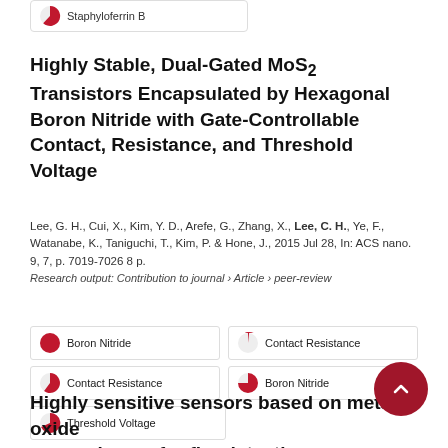[Figure (other): Partial pie chart badge for Staphyloferrin B keyword]
Highly Stable, Dual-Gated MoS2 Transistors Encapsulated by Hexagonal Boron Nitride with Gate-Controllable Contact, Resistance, and Threshold Voltage
Lee, G. H., Cui, X., Kim, Y. D., Arefe, G., Zhang, X., Lee, C. H., Ye, F., Watanabe, K., Taniguchi, T., Kim, P. & Hone, J., 2015 Jul 28, In: ACS nano. 9, 7, p. 7019-7026 8 p.
Research output: Contribution to journal › Article › peer-review
[Figure (other): 100% pie badge - Boron Nitride]
[Figure (other): ~93% pie badge - Contact Resistance (right column)]
[Figure (other): ~85% pie badge - Contact Resistance (left column)]
[Figure (other): ~75% pie badge - Boron Nitride (right column)]
[Figure (other): ~70% pie badge - Threshold Voltage]
Highly sensitive sensors based on metal-oxide nanocolumns for fire detection
Lee, K., Shim, Y. S., Song, Y. G., Han, S. D., Lee, Y. S. & Kang, C.